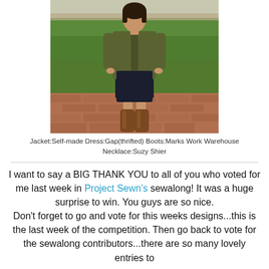[Figure (photo): A woman wearing a self-made olive/army green jacket over a dark navy dress, with tall brown leather knee-high boots, standing on a brick pathway with green grass in the background.]
Jacket:Self-made Dress:Gap(thrifted) Boots:Marks Work Warehouse Necklace:Suzy Shier
I want to say a BIG THANK YOU to all of you who voted for me last week in Project Sewn's sewalong! It was a huge surprise to win. You guys are so nice.
Don't forget to go and vote for this weeks designs...this is the last week of the competition. Then go back to vote for the sewalong contributors...there are so many lovely entries to